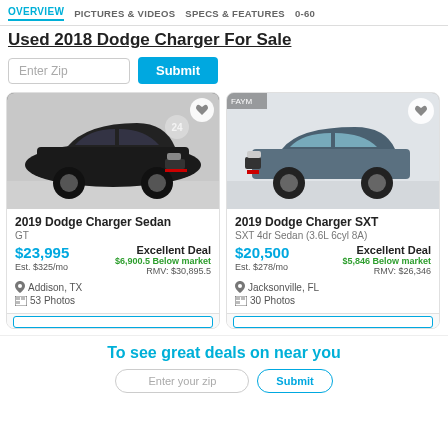OVERVIEW | PICTURES & VIDEOS | SPECS & FEATURES | 0-60
Used 2018 Dodge Charger For Sale
Enter Zip | Submit
[Figure (photo): 2019 Dodge Charger Sedan black car listing photo]
2019 Dodge Charger Sedan
GT
$23,995
Est. $325/mo
Excellent Deal
$6,900.5 Below market
RMV: $30,895.5
Addison, TX
53 Photos
[Figure (photo): 2019 Dodge Charger SXT gray car listing photo]
2019 Dodge Charger SXT
SXT 4dr Sedan (3.6L 6cyl 8A)
$20,500
Est. $278/mo
Excellent Deal
$5,846 Below market
RMV: $26,346
Jacksonville, FL
30 Photos
To see great deals on near you
Enter your zip | Submit